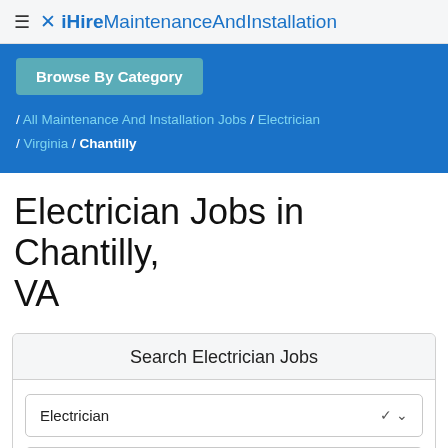≡ ✕ iHire MaintenanceAndInstallation
[Figure (screenshot): Blue banner with Browse By Category button and breadcrumb navigation: / All Maintenance And Installation Jobs / Electrician / Virginia / Chantilly]
Electrician Jobs in Chantilly, VA
Search Electrician Jobs
Electrician (dropdown)
Chantilly, VA (text field)